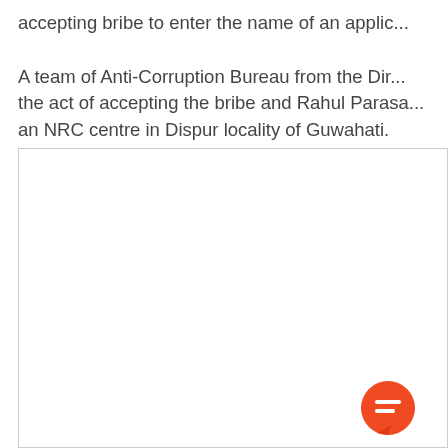accepting bribe to enter the name of an applic... A team of Anti-Corruption Bureau from the Dir... the act of accepting the bribe and Rahul Parasa... an NRC centre in Dispur locality of Guwahati.
[Figure (other): A white rectangular content box with a border, partially visible, containing a red circular chat/comment button icon in the lower-right area.]